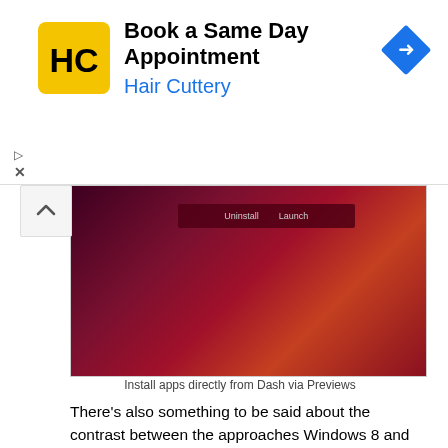[Figure (screenshot): Advertisement banner for Hair Cuttery: 'Book a Same Day Appointment' with HC logo and navigation arrow icon]
[Figure (screenshot): Screenshot of Ubuntu Dash interface showing app install options (Uninstall, Launch) with dark red/maroon background]
Install apps directly from Dash via Previews
There’s also something to be said about the contrast between the approaches Windows 8 and Ubuntu are taking to making their operating systems fit various form factors, namely tablets and desktop PCs.
While Windows 8 introduces this stark duality between a wholesale tablet user interface and a complete, but slightly undercut desktop user interface Ubuntu Unity seems to strive towards the middle. It could end up serving both desktop and tablet users without significantly undercutting either. I suspect Dash will play an increasing role in making this happen. It is essentially